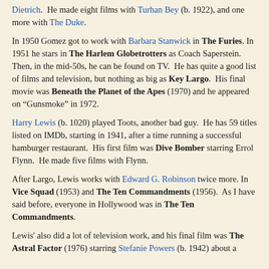Dietrich. He made eight films with Turhan Bey (b. 1922), and one more with The Duke.
In 1950 Gomez got to work with Barbara Stanwick in The Furies. In 1951 he stars in The Harlem Globetrotters as Coach Saperstein. Then, in the mid-50s, he can be found on TV. He has quite a good list of films and television, but nothing as big as Key Largo. His final movie was Beneath the Planet of the Apes (1970) and he appeared on "Gunsmoke" in 1972.
Harry Lewis (b. 1020) played Toots, another bad guy. He has 59 titles listed on IMDb, starting in 1941, after a time running a successful hamburger restaurant. His first film was Dive Bomber starring Errol Flynn. He made five films with Flynn.
After Largo, Lewis works with Edward G. Robinson twice more. In Vice Squad (1953) and The Ten Commandments (1956). As I have said before, everyone in Hollywood was in The Ten Commandments.
Lewis' also did a lot of television work, and his final film was The Astral Factor (1976) starring Stefanie Powers (b. 1942) about a